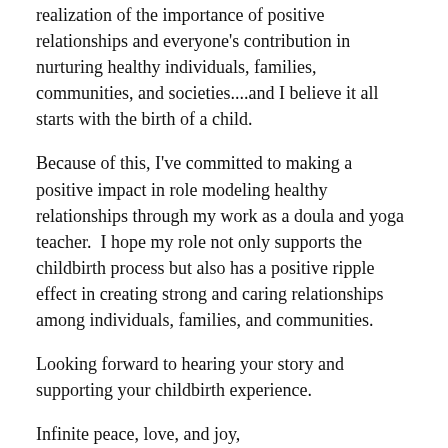realization of the importance of positive relationships and everyone's contribution in nurturing healthy individuals, families, communities, and societies....and I believe it all starts with the birth of a child.
Because of this, I've committed to making a positive impact in role modeling healthy relationships through my work as a doula and yoga teacher.  I hope my role not only supports the childbirth process but also has a positive ripple effect in creating strong and caring relationships among individuals, families, and communities.
Looking forward to hearing your story and supporting your childbirth experience.
Infinite peace, love, and joy,
Supinda Sirihekaphong, EdD
CD(DONA), RYT-200 & Prenatal Yoga Teacher